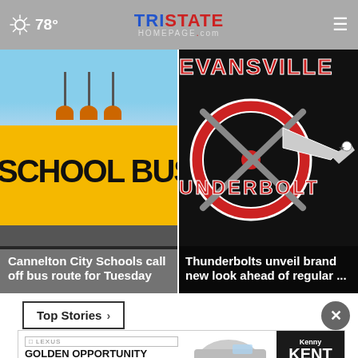78° TristateHomepage.com
[Figure (photo): School bus close-up photo with 'SCHOOL BUS' text overlay]
Cannelton City Schools call off bus route for Tuesday
[Figure (photo): Evansville Thunderbolts logo on black background]
Thunderbolts unveil brand new look ahead of regular ...
Top Stories ›
[Figure (photo): Lexus Golden Opportunity Sales Event advertisement with Kenny Kent Lexus branding]